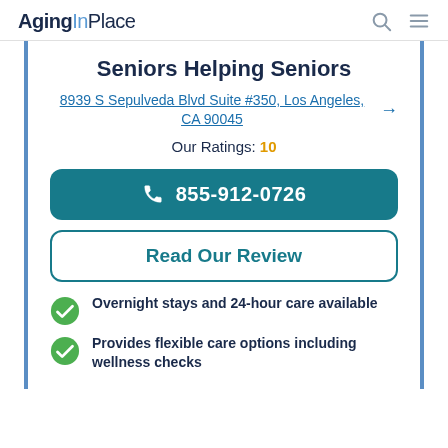AgingInPlace
Seniors Helping Seniors
8939 S Sepulveda Blvd Suite #350, Los Angeles, CA 90045
Our Ratings: 10
855-912-0726
Read Our Review
Overnight stays and 24-hour care available
Provides flexible care options including wellness checks